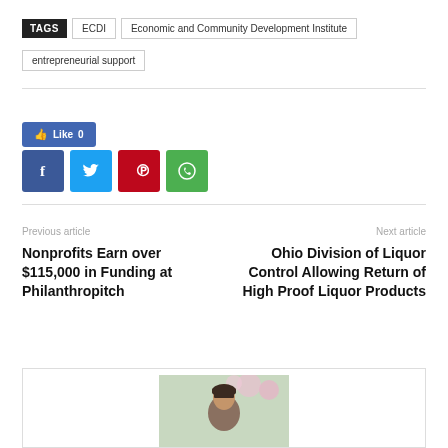TAGS  ECDI  Economic and Community Development Institute  entrepreneurial support
[Figure (other): Social sharing buttons: Like 0 (Facebook like), Facebook share, Twitter share, Pinterest share, WhatsApp share]
Previous article
Next article
Nonprofits Earn over $115,000 in Funding at Philanthropitch
Ohio Division of Liquor Control Allowing Return of High Proof Liquor Products
[Figure (photo): Portrait photo of a person with bangs, outdoors with blossoming trees in background]